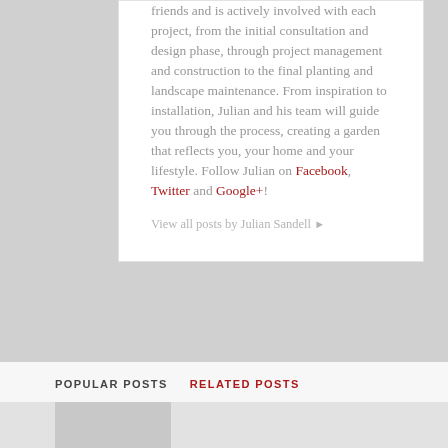friends and is actively involved with each project, from the initial consultation and design phase, through project management and construction to the final planting and landscape maintenance. From inspiration to installation, Julian and his team will guide you through the process, creating a garden that reflects you, your home and your lifestyle. Follow Julian on Facebook, Twitter and Google+!
View all posts by Julian Sandell ▶
POPULAR POSTS
RELATED POSTS